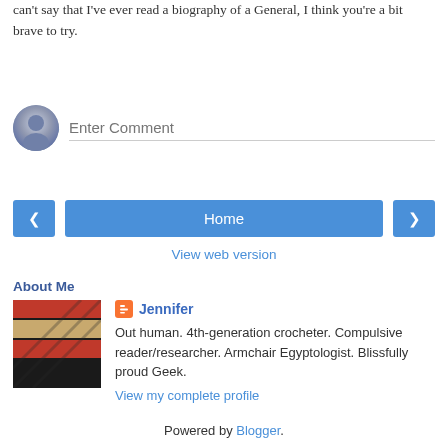can't say that I've ever read a biography of a General, I think you're a bit brave to try.
Reply
[Figure (other): Comment input area with avatar icon and text field saying 'Enter Comment']
[Figure (other): Navigation bar with left arrow button, Home button, and right arrow button]
View web version
About Me
[Figure (photo): Profile photo showing diagonal stripes in red, black and tan/gold colors]
Jennifer
Out human. 4th-generation crocheter. Compulsive reader/researcher. Armchair Egyptologist. Blissfully proud Geek.
View my complete profile
Powered by Blogger.